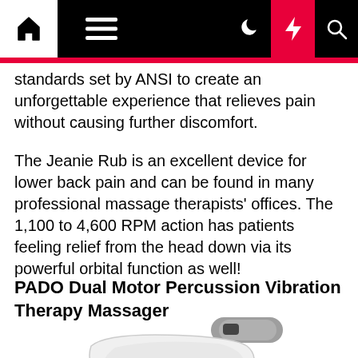Navigation bar with home, menu, moon, bolt, and search icons
standards set by ANSI to create an unforgettable experience that relieves pain without causing further discomfort.
The Jeanie Rub is an excellent device for lower back pain and can be found in many professional massage therapists' offices. The 1,100 to 4,600 RPM action has patients feeling relief from the head down via its powerful orbital function as well!
PADO Dual Motor Percussion Vibration Therapy Massager
[Figure (photo): PADO Dual Motor Percussion Vibration Therapy Massager — white and grey handheld massager device shown at an angle]